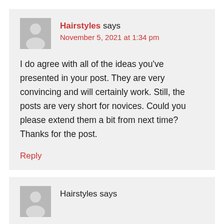Hairstyles says
November 5, 2021 at 1:34 pm
I do agree with all of the ideas you've presented in your post. They are very convincing and will certainly work. Still, the posts are very short for novices. Could you please extend them a bit from next time? Thanks for the post.
Reply
Hairstyles says